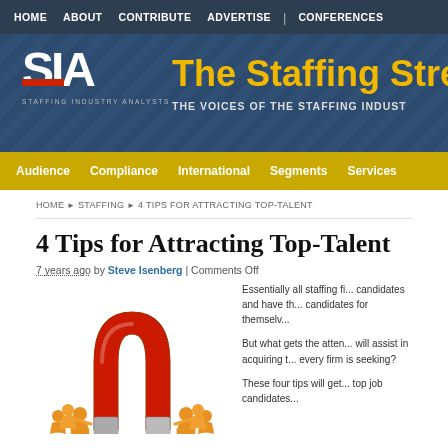HOME | ABOUT | CONTRIBUTE | ADVERTISE | | CONFERENCES
[Figure (logo): SIA - Staffing Industry Analysts logo with 'The Staffing Stre...' title and 'THE VOICES OF THE STAFFING INDUST...' subtitle on dark blue banner background]
Audience | Compliance | International | Segments | Services
HOME ▶ STAFFING ▶ 4 TIPS FOR ATTRACTING TOP-TALENT
4 Tips for Attracting Top-Talent
7 years ago by Steve Isenberg | Comments Off
[Figure (illustration): Illustration of a large red horseshoe magnet attracting several gold/orange figurine people]
Essentially all staffing fi... candidates and have th... candidates for themselv...
But what gets the atten... will assist in acquiring t... every firm is seeking?
These four tips will get... top job candidates...